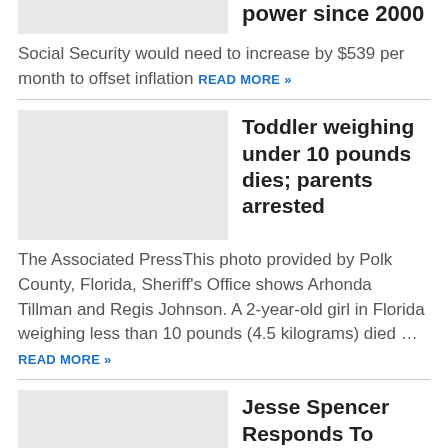[Figure (photo): Thumbnail image placeholder (light gray rectangle) for article about Social Security purchasing power]
power since 2000
Social Security would need to increase by $539 per month to offset inflation READ MORE »
[Figure (photo): Thumbnail image placeholder (light gray rectangle) for article about toddler death]
Toddler weighing under 10 pounds dies; parents arrested
The Associated PressThis photo provided by Polk County, Florida, Sheriff's Office shows Arhonda Tillman and Regis Johnson. A 2-year-old girl in Florida weighing less than 10 pounds (4.5 kilograms) died … READ MORE »
[Figure (photo): Thumbnail image placeholder (light gray rectangle) for Jesse Spencer article]
Jesse Spencer Responds To Those Leaked Chicago Fire